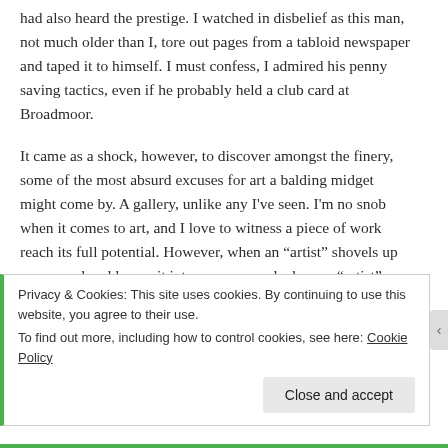had also heard the prestige. I watched in disbelief as this man, not much older than I, tore out pages from a tabloid newspaper and taped it to himself. I must confess, I admired his penny saving tactics, even if he probably held a club card at Broadmoor.
It came as a shock, however, to discover amongst the finery, some of the most absurd excuses for art a balding midget might come by. A gallery, unlike any I've seen. I'm no snob when it comes to art, and I love to witness a piece of work reach its full potential. However, when an “artist” shovels up some sand and lumps it into a corner, and when an “artist” folds up some blankets and labels it ‘Pile’ I fail to see the
Privacy & Cookies: This site uses cookies. By continuing to use this website, you agree to their use.
To find out more, including how to control cookies, see here: Cookie Policy